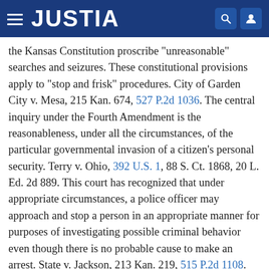JUSTIA
the Kansas Constitution proscribe "unreasonable" searches and seizures. These constitutional provisions apply to "stop and frisk" procedures. City of Garden City v. Mesa, 215 Kan. 674, 527 P.2d 1036. The central inquiry under the Fourth Amendment is the reasonableness, under all the circumstances, of the particular governmental invasion of a citizen's personal security. Terry v. Ohio, 392 U.S. 1, 88 S. Ct. 1868, 20 L. Ed. 2d 889. This court has recognized that under appropriate circumstances, a police officer may approach and stop a person in an appropriate manner for purposes of investigating possible criminal behavior even though there is no probable cause to make an arrest. State v. Jackson, 213 Kan. 219, 515 P.2d 1108.
In State v. Jackson, supra, we reviewed certain United States Supreme Court decisions on stop and frisk and